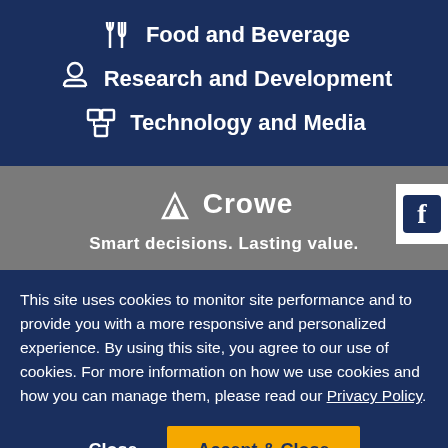Food and Beverage
Research and Development
Technology and Media
[Figure (logo): Crowe logo with triangular mountain peaks symbol and text 'Crowe'. Tagline: Smart decisions. Lasting value.]
This site uses cookies to monitor site performance and to provide you with a more responsive and personalized experience. By using this site, you agree to our use of cookies. For more information on how we use cookies and how you can manage them, please read our Privacy Policy.